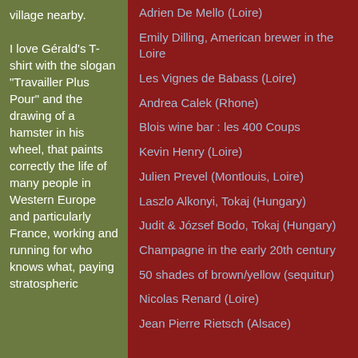village nearby.

I love Gérald's T-shirt with the slogan "Travailler Plus Pour" and the drawing of a hamster in his wheel, that paints correctly the life of many people in Western Europe and particularly France, working and running for who knows what, paying stratospheric
Adrien De Mello (Loire)
Emily Dilling, American brewer in the Loire
Les Vignes de Babass (Loire)
Andrea Calek (Rhone)
Blois wine bar : les 400 Coups
Kevin Henry (Loire)
Julien Prevel (Montlouis, Loire)
Laszlo Alkonyi, Tokaj (Hungary)
Judit & József Bodo, Tokaj (Hungary)
Champagne in the early 20th century
50 shades of brown/yellow (sequitur)
Nicolas Renard (Loire)
Jean Pierre Rietsch (Alsace)